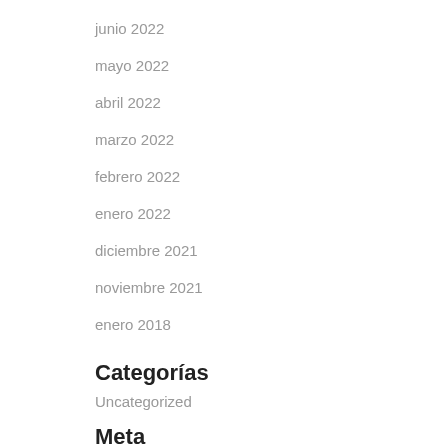junio 2022
mayo 2022
abril 2022
marzo 2022
febrero 2022
enero 2022
diciembre 2021
noviembre 2021
enero 2018
Categorías
Uncategorized
Meta
Acceder